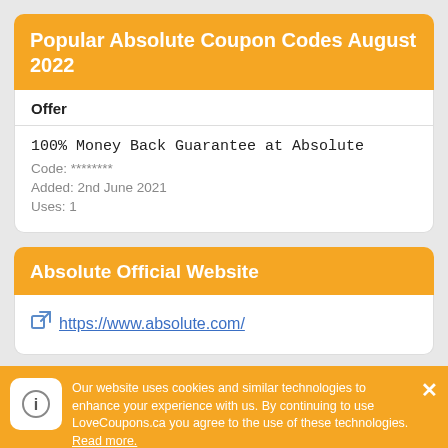Popular Absolute Coupon Codes August 2022
| Offer |
| --- |
| 100% Money Back Guarantee at Absolute
Code: ********
Added: 2nd June 2021
Uses: 1 |
Absolute Official Website
https://www.absolute.com/
Our website uses cookies and similar technologies to enhance your experience with us. By continuing to use LoveCoupons.ca you agree to the use of these technologies. Read more.